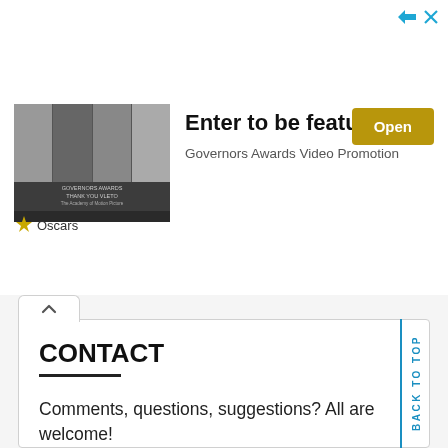[Figure (advertisement): Oscars Governors Awards Video Promotion ad with group photo thumbnails, 'Enter to be featured' headline, and Open button]
CONTACT
Comments, questions, suggestions? All are welcome!
Send me an e-mail!